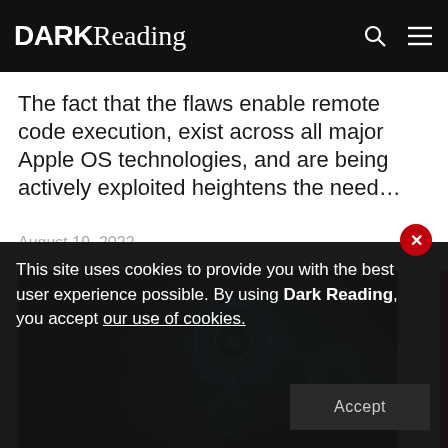DARK Reading
The fact that the flaws enable remote code execution, exist across all major Apple OS technologies, and are being actively exploited heightens the need…
August 19, 2022
[Figure (photo): Glowing blue cybersecurity gear/cog mechanism illustration on dark background]
This site uses cookies to provide you with the best user experience possible. By using Dark Reading, you accept our use of cookies.